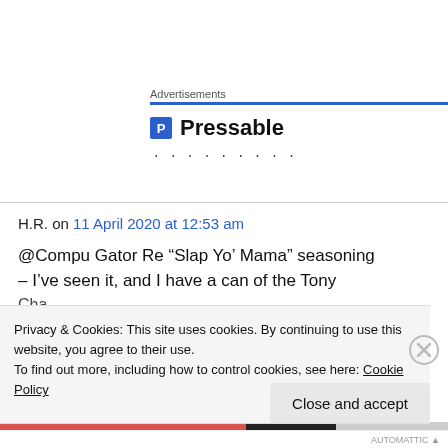Advertisements
[Figure (logo): Pressable logo with blue P icon and text 'Pressable' followed by a dotted line]
H.R. on 11 April 2020 at 12:53 am
@Compu Gator Re “Slap Yo’ Mama” seasoning – I’ve seen it, and I have a can of the Tony Cha...
Privacy & Cookies: This site uses cookies. By continuing to use this website, you agree to their use.
To find out more, including how to control cookies, see here: Cookie Policy
Close and accept